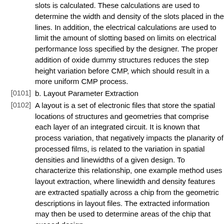slots is calculated. These calculations are used to determine the width and density of the slots placed in the lines. In addition, the electrical calculations are used to limit the amount of slotting based on limits on electrical performance loss specified by the designer. The proper addition of oxide dummy structures reduces the step height variation before CMP, which should result in a more uniform CMP process.
[0101] b. Layout Parameter Extraction
[0102] A layout is a set of electronic files that store the spatial locations of structures and geometries that comprise each layer of an integrated circuit. It is known that process variation, that negatively impacts the planarity of processed films, is related to the variation in spatial densities and linewidths of a given design. To characterize this relationship, one example method uses layout extraction, where linewidth and density features are extracted spatially across a chip from the geometric descriptions in layout files. The extracted information may then be used to determine areas of the chip that exceed design